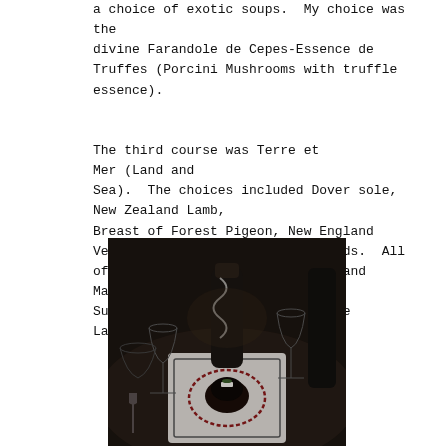a choice of exotic soups.  My choice was the divine Farandole de Cepes-Essence de Truffes (Porcini Mushrooms with truffle essence).

The third course was Terre et Mer (Land and Sea).  The choices included Dover sole, New Zealand Lamb, Breast of Forest Pigeon, New England Venison and several other seafoods.  All of this was topped off with a Grand Marnier Soufflé, a Crepe Suzette or a Trilogy of Chocolate Lava Cakes.
[Figure (photo): A dark, atmospheric restaurant table setting with an elegantly plated dessert — appears to be a chocolate lava cake on a white square plate with red sauce decoration, flanked by wine glasses and a dark bottle.]